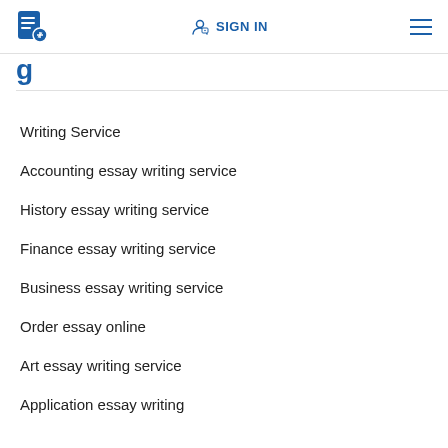SIGN IN
Writing Service
Accounting essay writing service
History essay writing service
Finance essay writing service
Business essay writing service
Order essay online
Art essay writing service
Application essay writing
Buy college essays
Computer science essay writing service